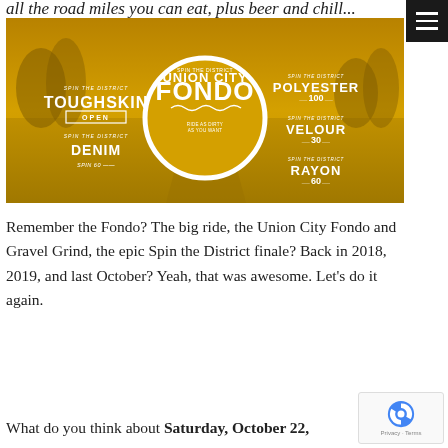all the road miles you can eat, plus beer and chill...
[Figure (illustration): Union City Fondo promotional banner with golden/amber color scheme. Left side shows TOUGHSKIN OPEN and DENIM labels. Center shows a circular badge with UNION CITY FONDO text. Right side shows POLYESTER 100, VELOUR 30, and RAYON 60 fabric options. Background shows a rural road scene tinted amber/gold.]
Remember the Fondo? The big ride, the Union City Fondo and Gravel Grind, the epic Spin the District finale? Back in 2018, 2019, and last October? Yeah, that was awesome. Let’s do it again.
What do you think about Saturday, October 22,